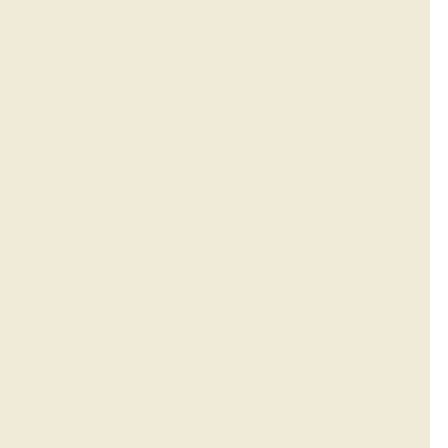children treat him as their grandfather. They were wanted to keep it a surprise as the Chief Minister is needed to celebrate his birthday, he might have eve very happy and cut it along with all the children in
Certain leaders were also present at Bhagwan Sing
Gohalwaria said to celebrate this occasion, he had While the Chief Minister planted the first sapling a planted in other parts of the city. “I will make sure Corporation will be starting a comprehensive plant in the city. We all know that the green cover in the that Ludhiana turns into a greener city once again,’
Former Cabinet Minister Hira Singh Gabria also ce in Labour Colony here.
Ex-VC miss
Already late, he was stopp
Gurv
Tribune
Ludhiana, December 8
An eminent scientist, Dr Gurcharan Singh Kalkat, degree from Punjab Agricultural University, could university following a visit to d